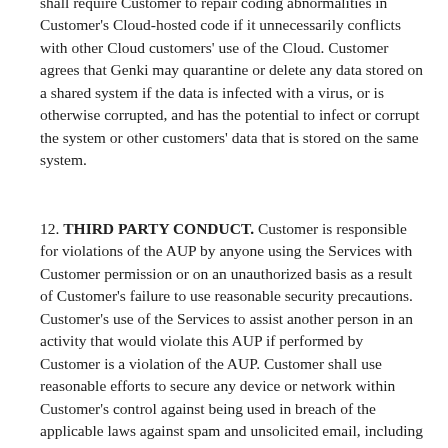shall require Customer to repair coding abnormalities in Customer's Cloud-hosted code if it unnecessarily conflicts with other Cloud customers' use of the Cloud. Customer agrees that Genki may quarantine or delete any data stored on a shared system if the data is infected with a virus, or is otherwise corrupted, and has the potential to infect or corrupt the system or other customers' data that is stored on the same system.
12. THIRD PARTY CONDUCT. Customer is responsible for violations of the AUP by anyone using the Services with Customer permission or on an unauthorized basis as a result of Customer's failure to use reasonable security precautions. Customer's use of the Services to assist another person in an activity that would violate this AUP if performed by Customer is a violation of the AUP. Customer shall use reasonable efforts to secure any device or network within Customer's control against being used in breach of the applicable laws against spam and unsolicited email, including where appropriate by the installation of antivirus software, firewall software, and operating system and application software patches and updates. Genki's right to suspend or terminate the Service applies even if a breach is committed unintentionally or without Customer authorization, including through a Trojan horse or Malware program.